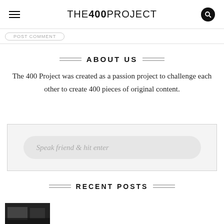THE 400 PROJECT
POST COMMENT
ABOUT US
The 400 Project was created as a passion project to challenge each other to create 400 pieces of original content.
Speak friend & hit enter
RECENT POSTS
[Figure (photo): Partial thumbnail image at bottom of page, appears to be a dark photo]